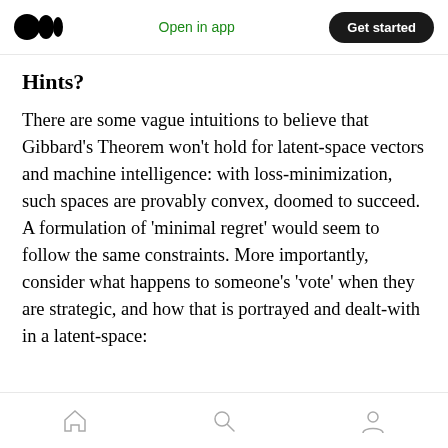Open in app | Get started
Hints?
There are some vague intuitions to believe that Gibbard's Theorem won't hold for latent-space vectors and machine intelligence: with loss-minimization, such spaces are provably convex, doomed to succeed. A formulation of 'minimal regret' would seem to follow the same constraints. More importantly, consider what happens to someone's 'vote' when they are strategic, and how that is portrayed and dealt-with in a latent-space:
Home | Search | Profile